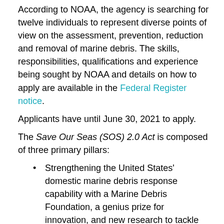According to NOAA, the agency is searching for twelve individuals to represent diverse points of view on the assessment, prevention, reduction and removal of marine debris. The skills, responsibilities, qualifications and experience being sought by NOAA and details on how to apply are available in the Federal Register notice.
Applicants have until June 30, 2021 to apply.
The Save Our Seas (SOS) 2.0 Act is composed of three primary pillars:
Strengthening the United States' domestic marine debris response capability with a Marine Debris Foundation, a genius prize for innovation, and new research to tackle the issue.
Enhancing global engagement to combat marine debris, including formalizing U.S. policy